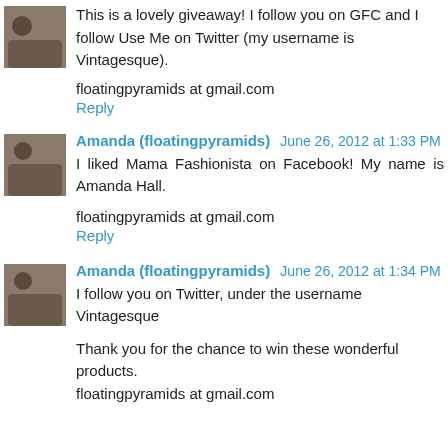This is a lovely giveaway! I follow you on GFC and I follow Use Me on Twitter (my username is Vintagesque).
floatingpyramids at gmail.com
Reply
Amanda (floatingpyramids) June 26, 2012 at 1:33 PM
I liked Mama Fashionista on Facebook! My name is Amanda Hall.
floatingpyramids at gmail.com
Reply
Amanda (floatingpyramids) June 26, 2012 at 1:34 PM
I follow you on Twitter, under the username Vintagesque
Thank you for the chance to win these wonderful products. floatingpyramids at gmail.com